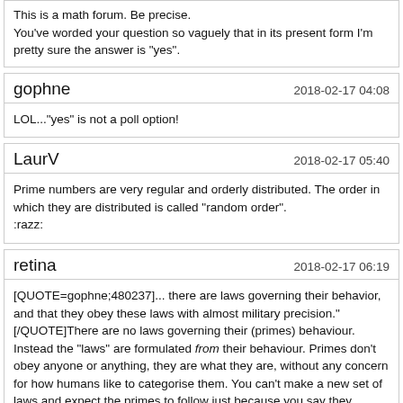This is a math forum. Be precise. You've worded your question so vaguely that in its present form I'm pretty sure the answer is "yes".
gophne
2018-02-17 04:08
LOL..."yes" is not a poll option!
LaurV
2018-02-17 05:40
Prime numbers are very regular and orderly distributed. The order in which they are distributed is called "random order".
:razz:
retina
2018-02-17 06:19
[QUOTE=gophne;480237]... there are laws governing their behavior, and that they obey these laws with almost military precision." [/QUOTE]There are no laws governing their (primes) behaviour. Instead the "laws" are formulated [i]from[/i] their behaviour. Primes don't obey anyone or anything, they are what they are, without any concern for how humans like to categorise them. You can't make a new set of laws and expect the primes to follow just because you say they should.